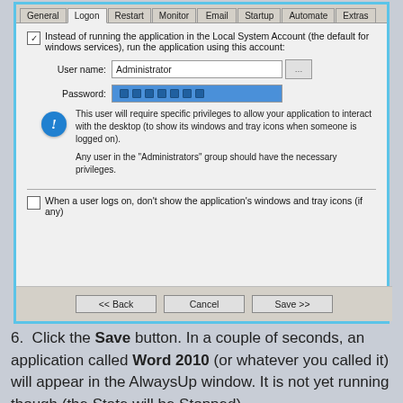[Figure (screenshot): Windows dialog screenshot showing a Logon tab with fields for User name (Administrator) and Password (filled), an info icon with privilege warning text, a checkbox for hiding application windows on logon, and Back/Cancel/Save buttons at the bottom.]
6. Click the Save button. In a couple of seconds, an application called Word 2010 (or whatever you called it) will appear in the AlwaysUp window. It is not yet running though (the State will be Stopped).